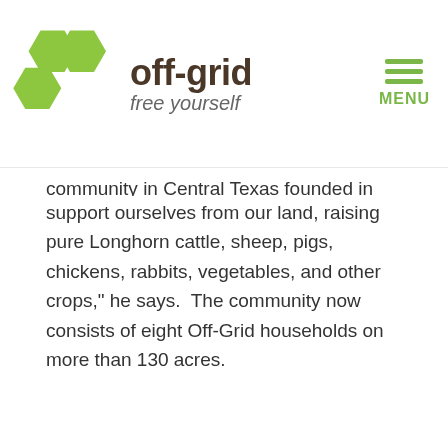[Figure (logo): Off-grid logo with green hexagons and text 'off-grid free yourself']
community in Central Texas founded in 2007. We do our best to support ourselves from our land, raising pure Longhorn cattle, sheep, pigs, chickens, rabbits, vegetables, and other crops," he says.  The community now consists of eight Off-Grid households on more than 130 acres.